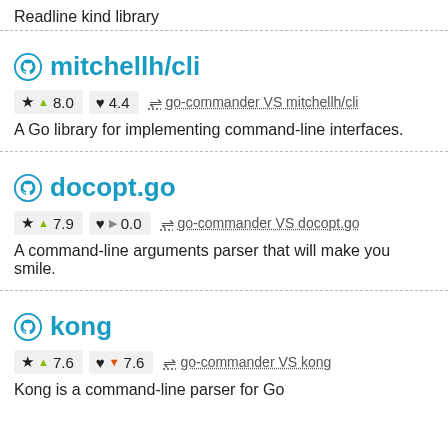Readline kind library
mitchellh/cli
★ ▲ 8.0   ♥ 4.4   ⇌ go-commander VS mitchellh/cli
A Go library for implementing command-line interfaces.
docopt.go
★ ▲ 7.9   ♥ ▶ 0.0   ⇌ go-commander VS docopt.go
A command-line arguments parser that will make you smile.
kong
★ ▲ 7.6   ♥ ▼ 7.6   ⇌ go-commander VS kong
Kong is a command-line parser for Go